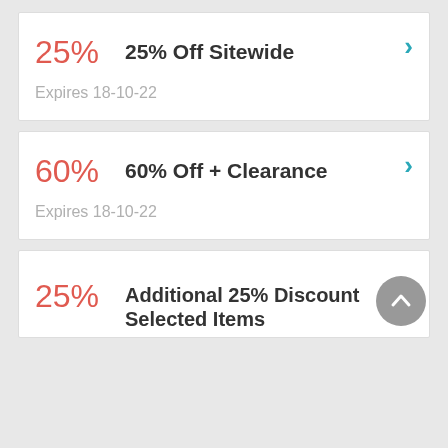25% — 25% Off Sitewide — Expires 18-10-22
60% — 60% Off + Clearance — Expires 18-10-22
25% — Additional 25% Discount Selected Items